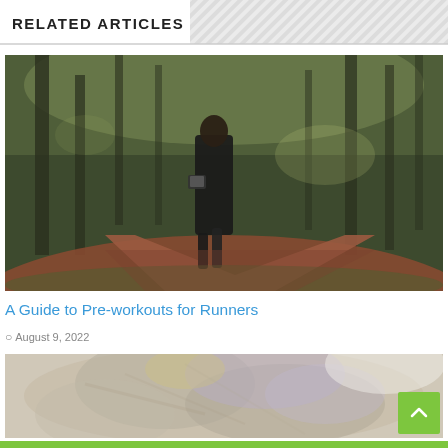RELATED ARTICLES
[Figure (photo): A woman runner seen from behind running on a forest path, wearing black workout clothes and a phone armband, with other people visible in the background on the path.]
A Guide to Pre-workouts for Runners
August 9, 2022
[Figure (photo): Close-up photo of what appears to be food or ingredients, slightly blurred, with light tones of beige and purple.]